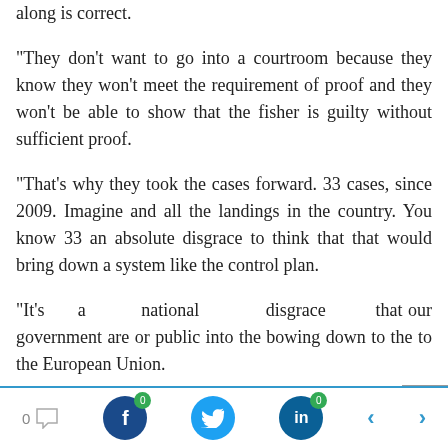along is correct.
“They don’t want to go into a courtroom because they know they won’t meet the requirement of proof and they won’t be able to show that the fisher is guilty without sufficient proof.
“That’s why they took the cases forward. 33 cases, since 2009. Imagine and all the landings in the country. You know 33 an absolute disgrace to think that that would bring down a system like the control plan.
“It’s a national disgrace that our government are or public into the bowing down to the to the European Union.
0 [comment] [Facebook 0] [Twitter] [LinkedIn 0] < >